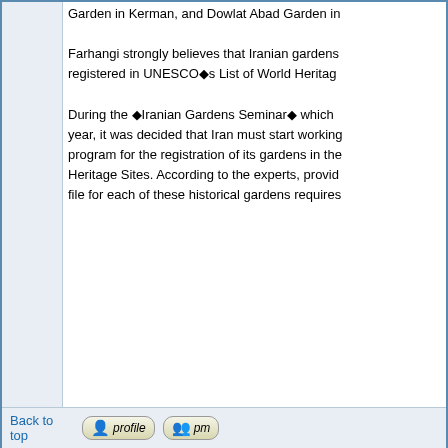Garden in Kerman, and Dowlat Abad Garden in
Farhangi strongly believes that Iranian gardens registered in UNESCO's List of World Heritage
During the 'Iranian Gardens Seminar' which year, it was decided that Iran must start working program for the registration of its gardens in the Heritage Sites. According to the experts, provid file for each of these historical gardens requires
Back to top
Display posts from previous:  All Posts   Oldest First   Go
[FREE IRAN Project] In The Spirit Of Cyrus The Great Forum Index -> Save 7000 Years Heritage & Save the Archeological Sites of Pasargad
Page 1 of 1
Jump to:  Save 7000 Years Heritage & Save the Archeological Sites of P
You cannot p
You cannot
You cannot e
You cannot del
You canno